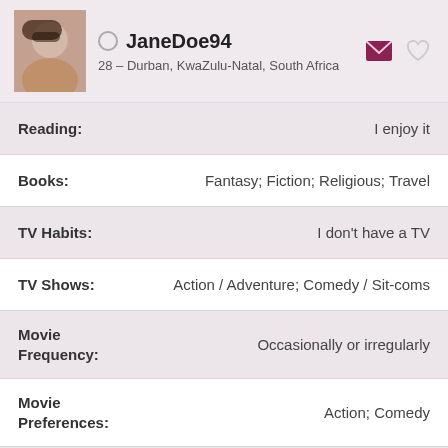JaneDoe94 — 28 – Durban, KwaZulu-Natal, South Africa
Reading: I enjoy it
Books: Fantasy; Fiction; Religious; Travel
TV Habits: I don't have a TV
TV Shows: Action / Adventure; Comedy / Sit-coms
Movie Frequency: Occasionally or irregularly
Movie Preferences: Action; Comedy
Interests: Board games; Computer & video games; Gardening; Healthy living; Making Music; Meditation; Photography; Surfing the Internet; Yoga